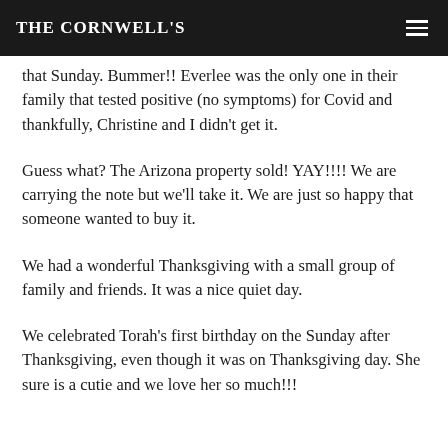THE CORNWELL'S
cancel our family dinner that Sunday. Bummer!! Everlee was the only one in their family that tested positive (no symptoms) for Covid and thankfully, Christine and I didn't get it.
Guess what? The Arizona property sold! YAY!!!! We are carrying the note but we'll take it. We are just so happy that someone wanted to buy it.
We had a wonderful Thanksgiving with a small group of family and friends. It was a nice quiet day.
We celebrated Torah's first birthday on the Sunday after Thanksgiving, even though it was on Thanksgiving day. She sure is a cutie and we love her so much!!!